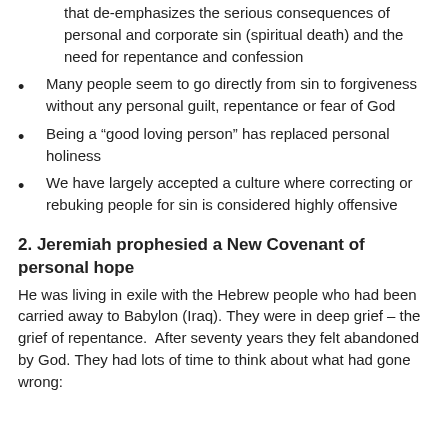that de-emphasizes the serious consequences of personal and corporate sin (spiritual death) and the need for repentance and confession
Many people seem to go directly from sin to forgiveness without any personal guilt, repentance or fear of God
Being a “good loving person” has replaced personal holiness
We have largely accepted a culture where correcting or rebuking people for sin is considered highly offensive
2. Jeremiah prophesied a New Covenant of personal hope
He was living in exile with the Hebrew people who had been carried away to Babylon (Iraq). They were in deep grief – the grief of repentance.  After seventy years they felt abandoned by God. They had lots of time to think about what had gone wrong: